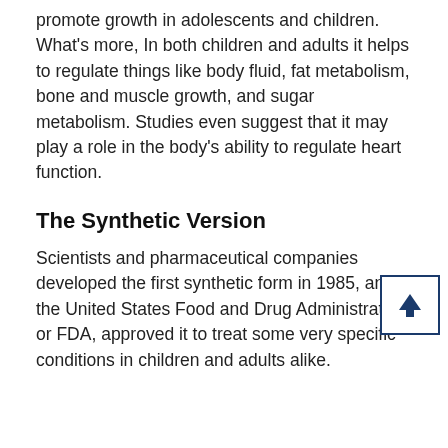promote growth in adolescents and children. What's more, In both children and adults it helps to regulate things like body fluid, fat metabolism, bone and muscle growth, and sugar metabolism. Studies even suggest that it may play a role in the body's ability to regulate heart function.
The Synthetic Version
Scientists and pharmaceutical companies developed the first synthetic form in 1985, and the United States Food and Drug Administration, or FDA, approved it to treat some very specific conditions in children and adults alike.